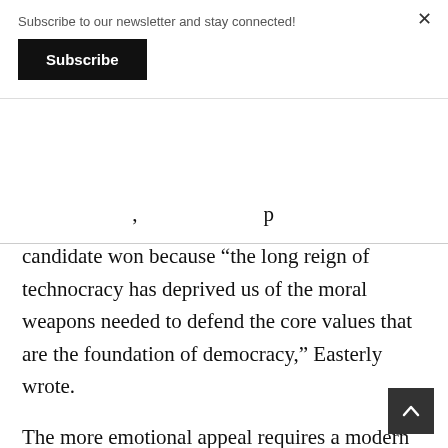Subscribe to our newsletter and stay connected!
Subscribe
candidate won because “the long reign of technocracy has deprived us of the moral weapons needed to defend the core values that are the foundation of democracy,” Easterly wrote.
The more emotional appeal requires a modern and effective communication strategy that highlights benefits of policies for target audiences, rather than listing their technical features. For instance, the Indonesian